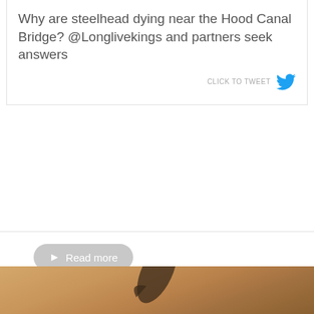Why are steelhead dying near the Hood Canal Bridge? @Longlivekings and partners seek answers
CLICK TO TWEET
Read more
Share this
[Figure (photo): A fish (steelhead/salmon) leaping out of warm golden-hued water at sunset or dusk, showing its tail and lower body above the water surface.]